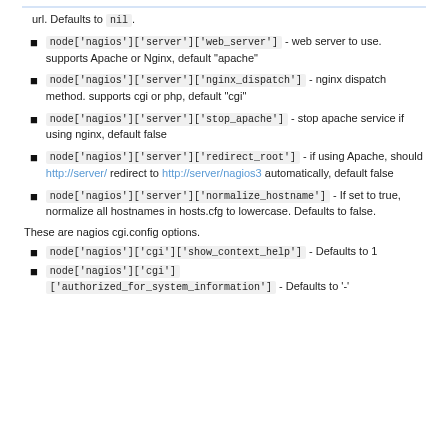url. Defaults to nil.
node['nagios']['server']['web_server'] - web server to use. supports Apache or Nginx, default "apache"
node['nagios']['server']['nginx_dispatch'] - nginx dispatch method. supports cgi or php, default "cgi"
node['nagios']['server']['stop_apache'] - stop apache service if using nginx, default false
node['nagios']['server']['redirect_root'] - if using Apache, should http://server/ redirect to http://server/nagios3 automatically, default false
node['nagios']['server']['normalize_hostname'] - If set to true, normalize all hostnames in hosts.cfg to lowercase. Defaults to false.
These are nagios cgi.config options.
node['nagios']['cgi']['show_context_help'] - Defaults to 1
node['nagios']['cgi']['authorized_for_system_information'] - Defaults to '-'